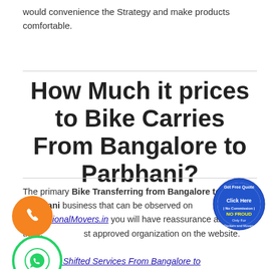would convenience the Strategy and make products comfortable.
How Much it prices to Bike Carries From Bangalore to Parbhani?
The primary Bike Transferring from Bangalore to Parbhani business that can be observed on ProfessionalMovers.in you will have reassurance as there just approved organization on the website. Also, the speed of bike Shifted Services From Bangalore to Parbhani is dependent upon the exact distance between the
[Figure (illustration): Orange circle with phone handset icon]
[Figure (illustration): Green circle border with WhatsApp handset icon]
[Figure (illustration): Blue and red circular badge reading Get Free Quote, Click Here, No Commission, NO FROUD, Only For Packers and Movers]